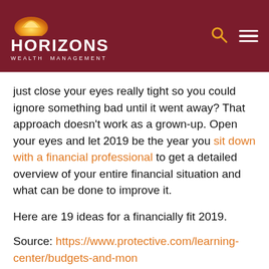[Figure (logo): Horizons Wealth Management logo with sun graphic on dark red background, with search and menu icons on the right]
just close your eyes really tight so you could ignore something bad until it went away? That approach doesn't work as a grown-up. Open your eyes and let 2019 be the year you sit down with a financial professional to get a detailed overview of your entire financial situation and what can be done to improve it.
Here are 19 ideas for a financially fit 2019.
Source: https://www.protective.com/learning-center/budgets-and-mon
Schedule a Discovery Call